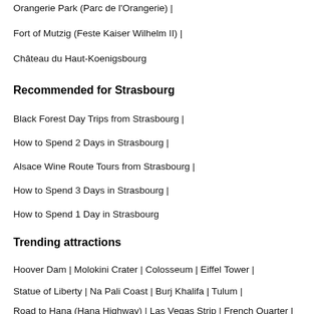Orangerie Park (Parc de l'Orangerie) |
Fort of Mutzig (Feste Kaiser Wilhelm II) |
Château du Haut-Koenigsbourg
Recommended for Strasbourg
Black Forest Day Trips from Strasbourg |
How to Spend 2 Days in Strasbourg |
Alsace Wine Route Tours from Strasbourg |
How to Spend 3 Days in Strasbourg |
How to Spend 1 Day in Strasbourg
Trending attractions
Hoover Dam | Molokini Crater | Colosseum | Eiffel Tower |
Statue of Liberty | Na Pali Coast | Burj Khalifa | Tulum |
Road to Hana (Hana Highway) | Las Vegas Strip | French Quarter |